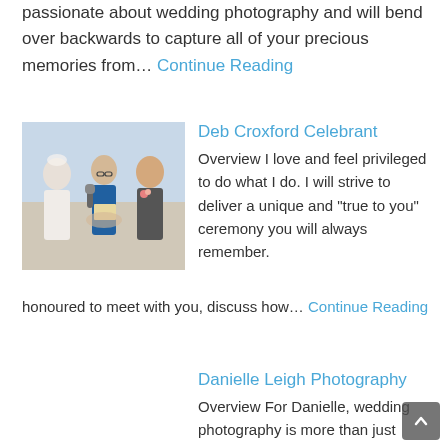passionate about wedding photography and will bend over backwards to capture all of your precious memories from... Continue Reading
[Figure (photo): Wedding ceremony photo showing a bride, celebrant with glasses holding a book and microphone, and groom in a suit with a boutonnière]
Deb Croxford Celebrant
Overview I love and feel privileged to do what I do. I will strive to deliver a unique and “true to you” ceremony you will always remember. I would be honoured to meet with you, discuss how... Continue Reading
Danielle Leigh Photography
Overview For Danielle, wedding photography is more than just